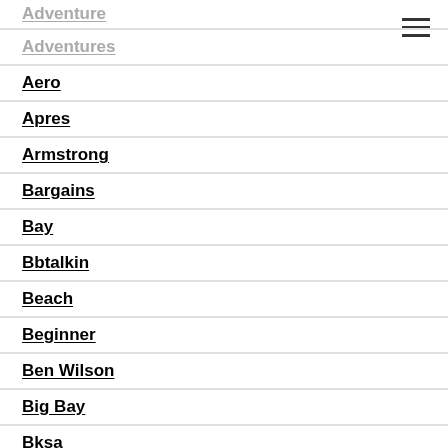Adventure
Adventures
Aero
Apres
Armstrong
Bargains
Bay
Bbtalkin
Beach
Beginner
Ben Wilson
Big Bay
Bksa
Bksa School
Bksa Tour 2010
Black Friday
Blake
Blast
Bluff